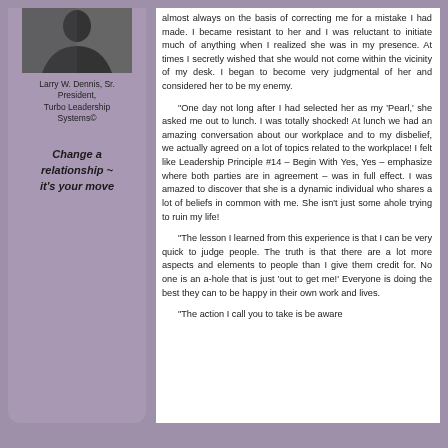[Figure (photo): Black and white photo of Larry W. Dennis, Sr.]
Larry W. Dennis, Sr. President, Turbo Leadership Systems©
Change a relationship ~ it's your move
almost always on the basis of correcting me for a mistake I had made. I became resistant to her and I was reluctant to initiate much of anything when I realized she was in my presence. At times I secretly wished that she would not come within the vicinity of my desk. I began to become very judgmental of her and considered her to be my enemy.

"One day not long after I had selected her as my 'Pearl,' she asked me out to lunch. I was totally shocked! At lunch we had an amazing conversation about our workplace and to my disbelief, we actually agreed on a lot of topics related to the workplace! I felt like Leadership Principle #14 – Begin With Yes, Yes – emphasize where both parties are in agreement – was in full effect. I was amazed to discover that she is a dynamic individual who shares a lot of beliefs in common with me. She isn't just some ahole trying to ruin my life!

"The lesson I learned from this experience is that I can be very quick to judge people. The truth is that there are a lot more aspects and elements to people than I give them credit for. No one is an a-hole that is just 'out to get me!' Everyone is doing the best they can to be happy in their own work and lives.

"The action I call you to take is be aware